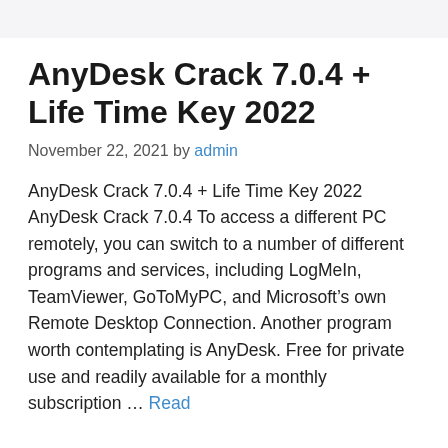AnyDesk Crack 7.0.4 + Life Time Key 2022
November 22, 2021 by admin
AnyDesk Crack 7.0.4 + Life Time Key 2022 AnyDesk Crack 7.0.4 To access a different PC remotely, you can switch to a number of different programs and services, including LogMeIn, TeamViewer, GoToMyPC, and Microsoft’s own Remote Desktop Connection. Another program worth contemplating is AnyDesk. Free for private use and readily available for a monthly subscription … Read